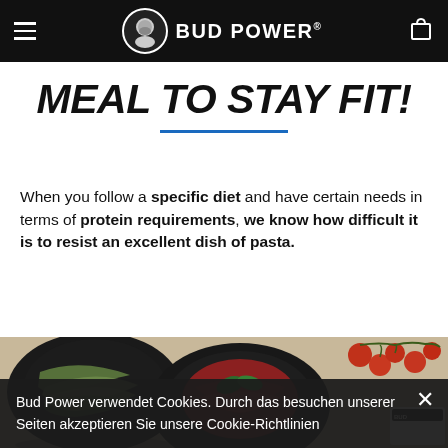BUD POWER®
MEAL TO STAY FIT!
When you follow a specific diet and have certain needs in terms of protein requirements, we know how difficult it is to resist an excellent dish of pasta.
[Figure (photo): Overhead photo of two dark bowls containing pasta dishes — one with green zucchini noodles, one with spaghetti in tomato sauce topped with basil — alongside cherry tomatoes on a vine and a Bud Power branded package on a light wooden surface.]
Bud Power verwendet Cookies. Durch das besuchen unserer Seiten akzeptieren Sie unsere Cookie-Richtlinien